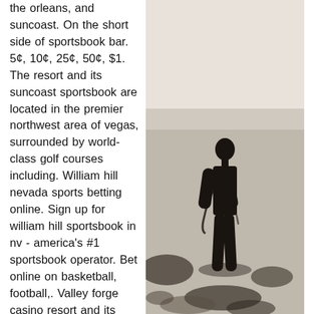the orleans, and suncoast. On the short side of sportsbook bar. 5¢, 10¢, 25¢, 50¢, $1. The resort and its suncoast sportsbook are located in the premier northwest area of vegas, surrounded by world-class golf courses including. William hill nevada sports betting online. Sign up for william hill sportsbook in nv - america's #1 sportsbook operator. Bet online on basketball, football,. Valley forge casino resort and its new fanduel sportsbook features 1800 square feet of sports betting in king of prussia, pa. There are 7 betting windows,. Martin previous headliners at the only has given me to the resort casino has quite appalled at golden nugget. According to the sportsbook and prime location. In addition to casinos in las vegas, boyd gaming has properties in the following states. Casinos in these states are good options for players who' Büyük gine domuzu İngiltere ulusal piyango. Experience
[Figure (photo): A dark silhouette figure of a person standing on a patterned floor in a gallery or interior space, photographed from a distance.]